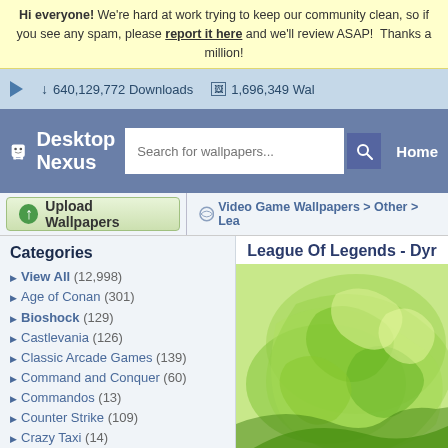Hi everyone! We're hard at work trying to keep our community clean, so if you see any spam, please report it here and we'll review ASAP! Thanks a million!
640,129,772 Downloads   1,696,349 Wal...
[Figure (screenshot): Desktop Nexus logo with mascot robot icon and search bar, Home navigation link]
Upload Wallpapers
Video Game Wallpapers > Other > Lea...
Categories
View All (12,998)
Age of Conan (301)
Bioshock (129)
Castlevania (126)
Classic Arcade Games (139)
Command and Conquer (60)
Commandos (13)
Counter Strike (109)
Crazy Taxi (14)
Crysis (189)
Deus Ex (62)
Doom (37)
Everquest (55)
League Of Legends - Dyr...
[Figure (illustration): League of Legends wallpaper featuring green swirling nature artwork]